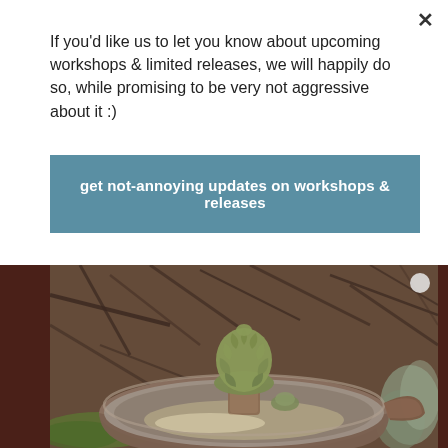If you'd like us to let you know about upcoming workshops & limited releases, we will happily do so, while promising to be very not aggressive about it :)
get not-annoying updates on workshops & releases
[Figure (photo): Ceramic fountain/birdbath with an artichoke-shaped sculpture on top, sitting in a rustic garden setting with twigs and plants in the background]